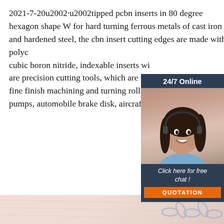2021-7-20u2002·u2002tipped pcbn inserts in 80 degree hexagon shape W for hard turning ferrous metals of cast iron and hardened steel, the cbn insert cutting edges are made with polyc cubic boron nitride, indexable inserts wi are precision cutting tools, which are us fine finish machining and turning roller, b pumps, automobile brake disk, aircraft j
[Figure (illustration): Advertisement widget with '24/7 Online' header, photo of woman with headset/phone, 'Click here for free chat!' text, and orange QUOTATION button]
Get Price
[Figure (logo): Orange 'TOP' logo with dots arranged in triangle/pyramid above the word TOP]
[Figure (photo): Bottom strip showing a pinkish fabric/textile background with metal chain links]